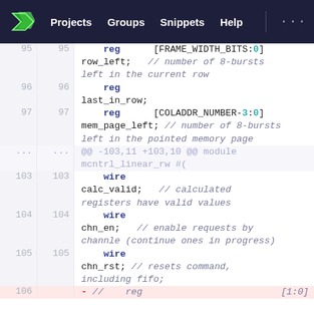Projects  Groups  Snippets  Help  ...
[Figure (screenshot): Code diff view of Verilog source showing lines 95-106 with line numbers, keywords in blue, bit-range indices in teal, and comments in italic gray. Line 106 is highlighted in red as a deleted line.]